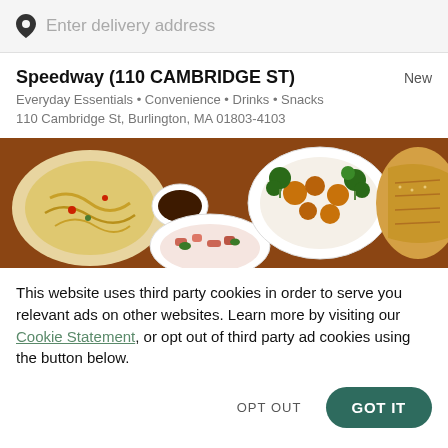[Figure (screenshot): Search bar with map pin icon and placeholder text 'Enter delivery address']
Speedway (110 CAMBRIDGE ST)
Everyday Essentials • Convenience • Drinks • Snacks
110 Cambridge St, Burlington, MA 01803-4103
[Figure (photo): Food dishes on a table — noodles, broccoli stir-fry, sauce bowl, and flatbread]
This website uses third party cookies in order to serve you relevant ads on other websites. Learn more by visiting our Cookie Statement, or opt out of third party ad cookies using the button below.
OPT OUT   GOT IT